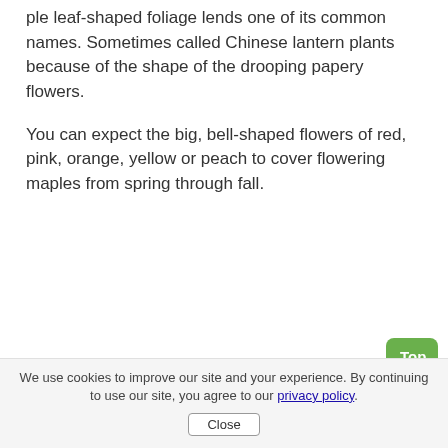ple leaf-shaped foliage lends one of its common names. Sometimes called Chinese lantern plants because of the shape of the drooping papery flowers.
You can expect the big, bell-shaped flowers of red, pink, orange, yellow or peach to cover flowering maples from spring through fall.
We use cookies to improve our site and your experience. By continuing to use our site, you agree to our privacy policy. Close